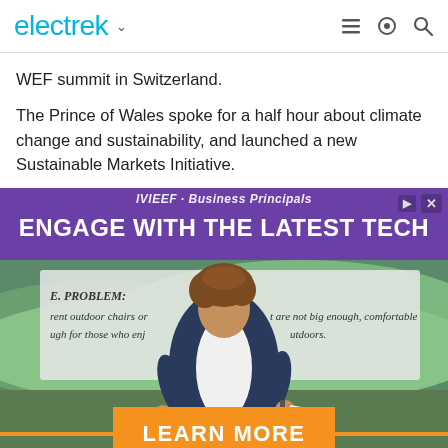electrek
WEF summit in Switzerland.
The Prince of Wales spoke for a half hour about climate change and sustainability, and launched a new Sustainable Markets Initiative.
[Figure (photo): Advertisement for a tech product featuring a young person speaking on stage with a presentation behind them. Text reads: ENGAGE WITH THE LATEST TECH. THE PROBLEM: current outdoor chairs or... that are not big enough, comfortable... enough for those who enj... outdoors. LEARN MORE button at the bottom.]